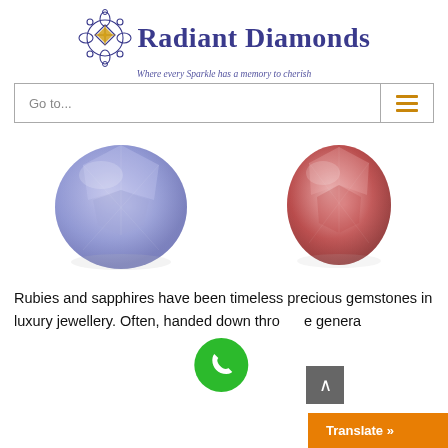[Figure (logo): Radiant Diamonds logo with ornate diamond ornament graphic, text 'Radiant Diamonds' in large navy blue serif font, subtitle 'Where every Sparkle has a memory to cherish' in italic purple]
[Figure (screenshot): Navigation bar with 'Go to...' placeholder text on left and orange hamburger menu icon on right]
[Figure (photo): Two gemstone photos side by side: left is a round-cut lavender/blue sapphire, right is a round-cut red/pink ruby, both shown close-up]
Rubies and sapphires have been timeless precious gemstones in luxury jewellery. Often, handed down through generations...